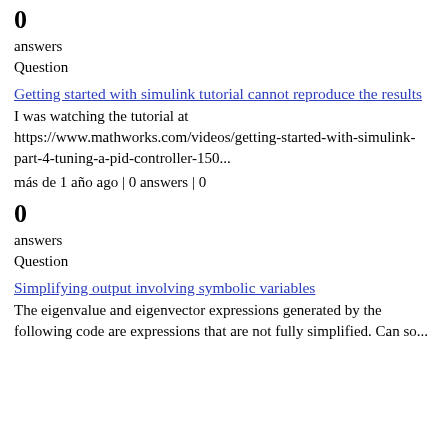0
answers
Question
Getting started with simulink tutorial cannot reproduce the results
I was watching the tutorial at https://www.mathworks.com/videos/getting-started-with-simulink-part-4-tuning-a-pid-controller-150...
más de 1 año ago | 0 answers | 0
0
answers
Question
Simplifying output involving symbolic variables
The eigenvalue and eigenvector expressions generated by the following code are expressions that are not fully simplified. Can so...